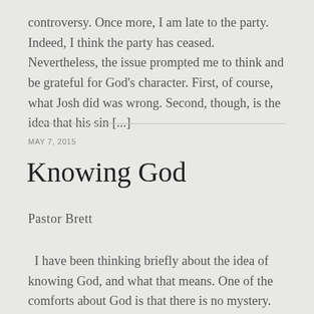controversy. Once more, I am late to the party. Indeed, I think the party has ceased. Nevertheless, the issue prompted me to think and be grateful for God's character. First, of course, what Josh did was wrong. Second, though, is the idea that his sin [...]
MAY 7, 2015
Knowing God
Pastor Brett
I have been thinking briefly about the idea of knowing God, and what that means. One of the comforts about God is that there is no mystery. There is mystery, in some of His ways and how they